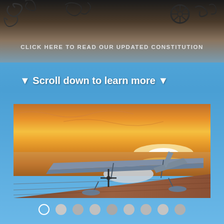[Figure (photo): Dark banner with decorative scroll/calligraphy designs and a wheel icon on dark background fading to sandy/blue tones]
CLICK HERE TO READ OUR UPDATED CONSTITUTION
▼ Scroll down to learn more ▼
[Figure (photo): Seaplane on a dock/shore at sunset, with vivid orange/golden sky reflecting on calm water, blue wing visible in silhouette]
[Figure (infographic): Row of 9 navigation dots at bottom: first dot is open/outlined circle, remaining 8 are filled grey circles]